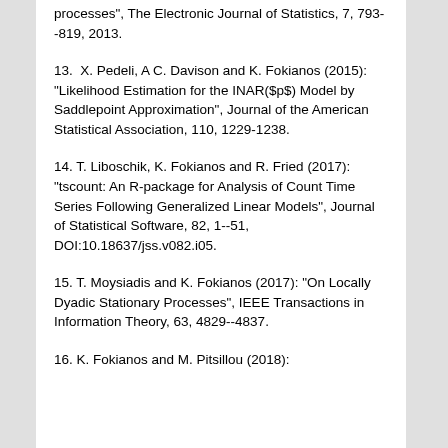processes", The Electronic Journal of Statistics, 7, 793--819, 2013.
13.  X. Pedeli, A C. Davison and K. Fokianos (2015): "Likelihood Estimation for the INAR($p$) Model by Saddlepoint Approximation", Journal of the American Statistical Association, 110, 1229-1238.
14. T. Liboschik, K. Fokianos and R. Fried (2017): "tscount: An R-package for Analysis of Count Time Series Following Generalized Linear Models", Journal of Statistical Software, 82, 1--51, DOI:10.18637/jss.v082.i05.
15. T. Moysiadis and K. Fokianos (2017): "On Locally Dyadic Stationary Processes", IEEE Transactions in Information Theory, 63, 4829--4837.
16. K. Fokianos and M. Pitsillou (2018):